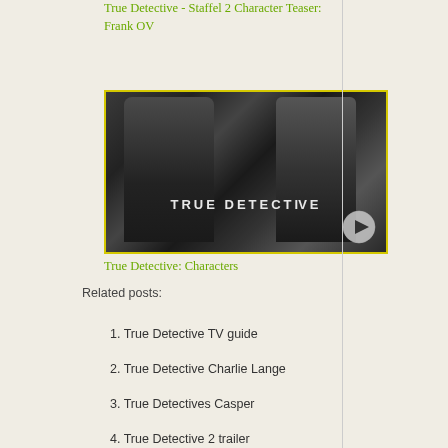True Detective - Staffel 2 Character Teaser: Frank OV
[Figure (screenshot): Black and white True Detective video thumbnail with two male figures, yellow border, play button, and TRUE DETECTIVE text overlay]
True Detective: Characters
Related posts:
1. True Detective TV guide
2. True Detective Charlie Lange
3. True Detectives Casper
4. True Detective 2 trailer